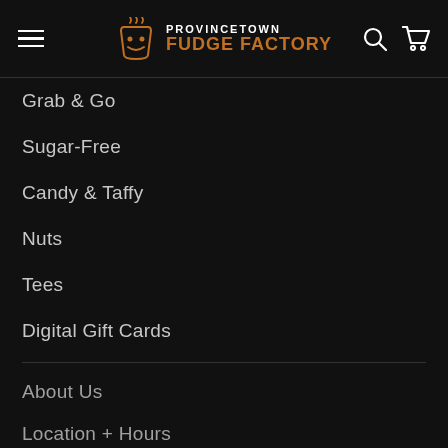Provincetown Fudge Factory
Grab & Go
Sugar-Free
Candy & Taffy
Nuts
Tees
Digital Gift Cards
About Us
Location + Hours
Contact Us
Deals